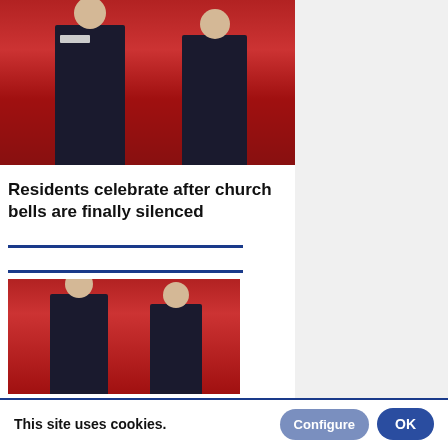[Figure (photo): Two students in dark school blazers with white trim standing in front of a red curtain background]
Residents celebrate after church bells are finally silenced
[Figure (photo): Two students in dark school blazers with ties standing in front of a red curtain background]
This site uses cookies.